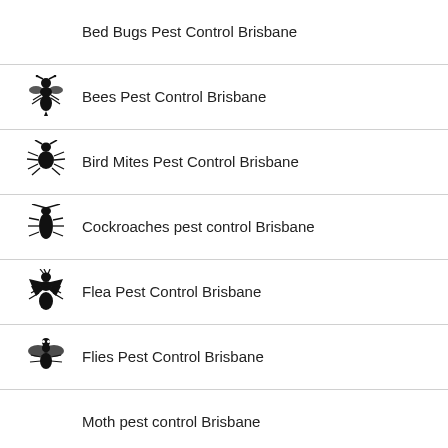Bed Bugs Pest Control Brisbane
Bees Pest Control Brisbane
Bird Mites Pest Control Brisbane
Cockroaches pest control Brisbane
Flea Pest Control Brisbane
Flies Pest Control Brisbane
Moth pest control Brisbane
(partial row)